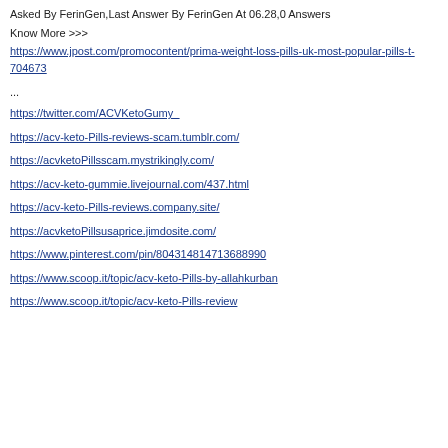Asked By FerinGen,Last Answer By FerinGen At 06.28,0 Answers
Know More >>>
https://www.jpost.com/promocontent/prima-weight-loss-pills-uk-most-popular-pills-t-704673
...
https://twitter.com/ACVKetoGumy_
https://acv-keto-Pills-reviews-scam.tumblr.com/
https://acvketoPillsscam.mystrikingly.com/
https://acv-keto-gummie.livejournal.com/437.html
https://acv-keto-Pills-reviews.company.site/
https://acvketoPillsusaprice.jimdosite.com/
https://www.pinterest.com/pin/804314814713688990
https://www.scoop.it/topic/acv-keto-Pills-by-allahkurban
https://www.scoop.it/topic/acv-keto-Pills-review